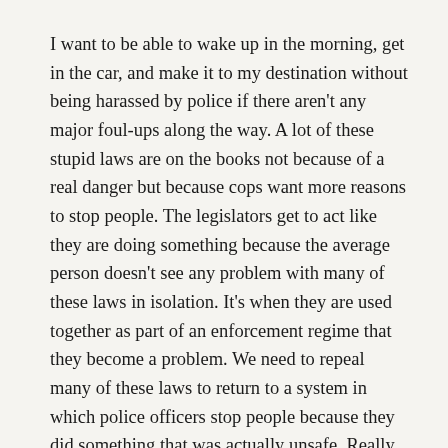I want to be able to wake up in the morning, get in the car, and make it to my destination without being harassed by police if there aren't any major foul-ups along the way. A lot of these stupid laws are on the books not because of a real danger but because cops want more reasons to stop people. The legislators get to act like they are doing something because the average person doesn't see any problem with many of these laws in isolation. It's when they are used together as part of an enforcement regime that they become a problem. We need to repeal many of these laws to return to a system in which police officers stop people because they did something that was actually unsafe. Really, in an ideal system, we would be able to have 100% enforcement, but that wouldn't currently be sustainable. If every driver, regardless of age, sex, or political connections